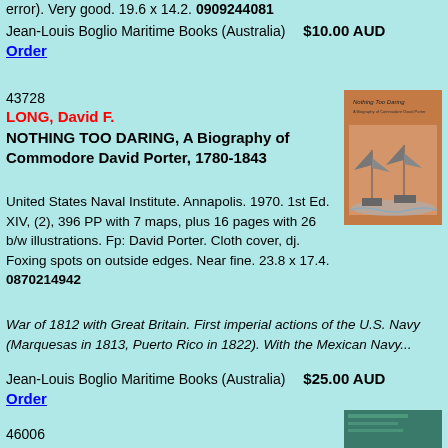error). Very good. 19.6 x 14.2. 0909244081
Jean-Louis Boglio Maritime Books (Australia)   $10.00 AUD
Order
43728
LONG, David F.
NOTHING TOO DARING, A Biography of Commodore David Porter, 1780-1843
[Figure (photo): Book cover of 'Nothing Too Daring' showing sailing ships on water, brown/orange cover]
United States Naval Institute. Annapolis. 1970. 1st Ed. XIV, (2), 396 PP with 7 maps, plus 16 pages with 26 b/w illustrations. Fp: David Porter. Cloth cover, dj. Foxing spots on outside edges. Near fine. 23.8 x 17.4. 0870214942
War of 1812 with Great Britain. First imperial actions of the U.S. Navy (Marquesas in 1813, Puerto Rico in 1822). With the Mexican Navy...
Jean-Louis Boglio Maritime Books (Australia)   $25.00 AUD
Order
46006
[Figure (photo): Partial book cover, teal/green color, bottom of page]